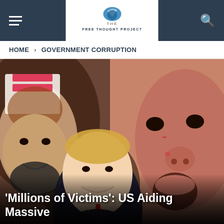THE FREE THOUGHT PROJECT
HOME > GOVERNMENT CORRUPTION
[Figure (photo): Composite image showing Middle Eastern figures in traditional dress alongside a man in a suit with red tie, and a close-up of a crying child in the background]
'Millions of Victims': US Aiding Massive